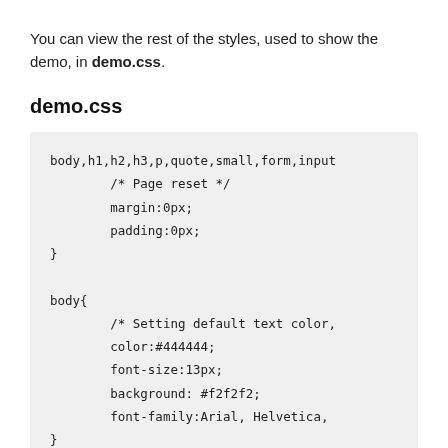You can view the rest of the styles, used to show the demo, in demo.css.
demo.css
body,h1,h2,h3,p,quote,small,form,input
        /* Page reset */
        margin:0px;
        padding:0px;
}

body{
        /* Setting default text color,
        color:#444444;
        font-size:13px;
        background: #f2f2f2;
        font-family:Arial, Helvetica,
}